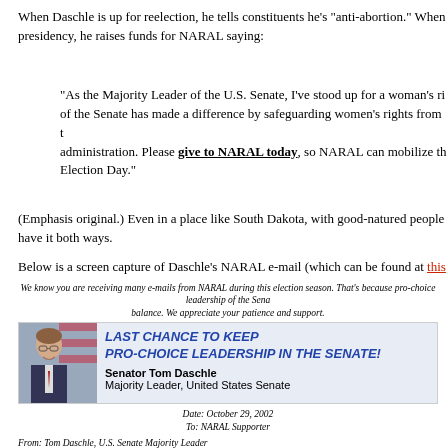When Daschle is up for reelection, he tells constituents he's "anti-abortion." When he runs for the presidency, he raises funds for NARAL saying:
"As the Majority Leader of the U.S. Senate, I've stood up for a woman's rights of the Senate has made a difference by safeguarding women's rights from the administration. Please give to NARAL today, so NARAL can mobilize the Election Day."
(Emphasis original.) Even in a place like South Dakota, with good-natured people have it both ways.
Below is a screen capture of Daschle's NARAL e-mail (which can be found at this
[Figure (screenshot): Screenshot of Daschle NARAL fundraising email with banner reading LAST CHANCE TO KEEP PRO-CHOICE LEADERSHIP IN THE SENATE! featuring photo of Senator Tom Daschle, Majority Leader, United States Senate. Date October 29, 2002 to NARAL Supporter. Email text about pro-choice leadership.]